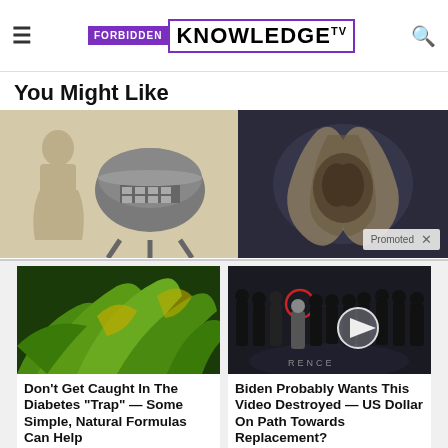Forbidden Knowledge TV
You Might Like
[Figure (photo): Left: illustration of a woman in traditional dress and a military helmet. Right: photo of a large animal skull or bone sculpture in a museum setting with a 'Promoted' badge.]
[Figure (photo): Left: close-up photo of green plants/herbs. Right: video thumbnail of men in suits standing in front of a CIA emblem floor with a play button overlay.]
Don't Get Caught In The Diabetes "Trap" — Some Simple, Natural Formulas Can Help
Find Out More
Biden Probably Wants This Video Destroyed — US Dollar On Path Towards Replacement?
Watch The Video